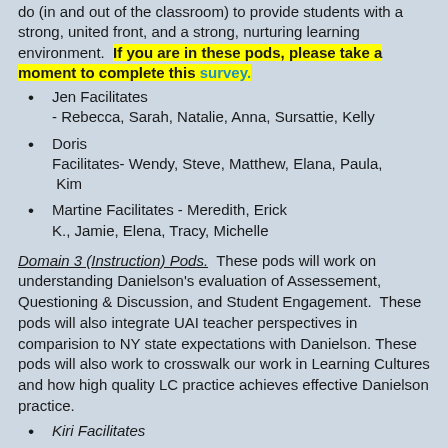do (in and out of the classroom) to provide students with a strong, united front, and a strong, nurturing learning environment. If you are in these pods, please take a moment to complete this survey.
Jen Facilitates - Rebecca, Sarah, Natalie, Anna, Sursattie, Kelly
Doris Facilitates- Wendy, Steve, Matthew, Elana, Paula, Kim
Martine Facilitates - Meredith, Erick K., Jamie, Elena, Tracy, Michelle
Domain 3 (Instruction) Pods. These pods will work on understanding Danielson's evaluation of Assessement, Questioning & Discussion, and Student Engagement. These pods will also integrate UAI teacher perspectives in comparision to NY state expectations with Danielson. These pods will also work to crosswalk our work in Learning Cultures and how high quality LC practice achieves effective Danielson practice.
Kiri Facilitates